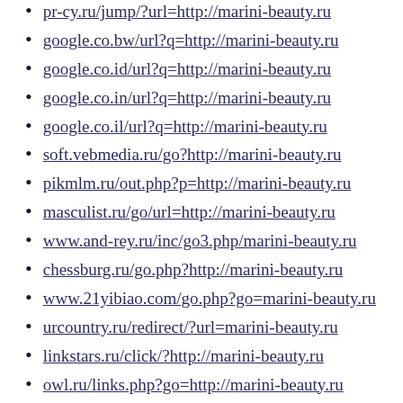pr-cy.ru/jump/?url=http://marini-beauty.ru
google.co.bw/url?q=http://marini-beauty.ru
google.co.id/url?q=http://marini-beauty.ru
google.co.in/url?q=http://marini-beauty.ru
google.co.il/url?q=http://marini-beauty.ru
soft.vebmedia.ru/go?http://marini-beauty.ru
pikmlm.ru/out.php?p=http://marini-beauty.ru
masculist.ru/go/url=http://marini-beauty.ru
www.and-rey.ru/inc/go3.php/marini-beauty.ru
chessburg.ru/go.php?http://marini-beauty.ru
www.21yibiao.com/go.php?go=marini-beauty.ru
urcountry.ru/redirect/?url=marini-beauty.ru
linkstars.ru/click/?http://marini-beauty.ru
owl.ru/links.php?go=http://marini-beauty.ru
regnopol.clan.su/go?http://marini-beauty.ru
tannarh.narod.ru/go?http://marini-beauty.ru
mss.in.ua/go.php?to=http://marini-beauty.ru
old.x-30.ru/url.php?http://marini-beauty.ru
getdatasheet.org/url.php?u=marini-beauty.ru